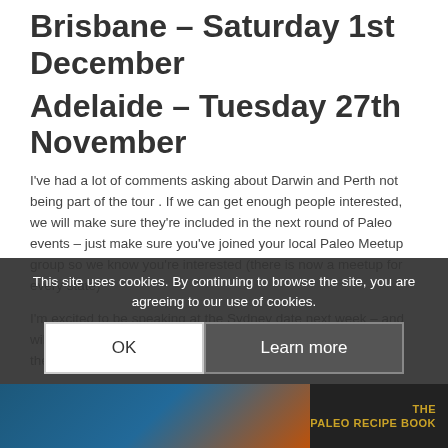Brisbane – Saturday 1st December
Adelaide – Tuesday 27th November
I've had a lot of comments asking about Darwin and Perth not being part of the tour . If we can get enough people interested, we will make sure they're included in the next round of Paleo events – just make sure you've joined your local Paleo Meetup group so we know you're interested (there is now a meetup for every state)
I'm excited to be speaking at the Sydney date next week – and will be attending the remaining dates – I hope to see at one of the events.
This site uses cookies. By continuing to browse the site, you are agreeing to our use of cookies.
[Figure (photo): Bottom image strip showing colorful images and 'THE PALEO RECIPE BOOK' text]